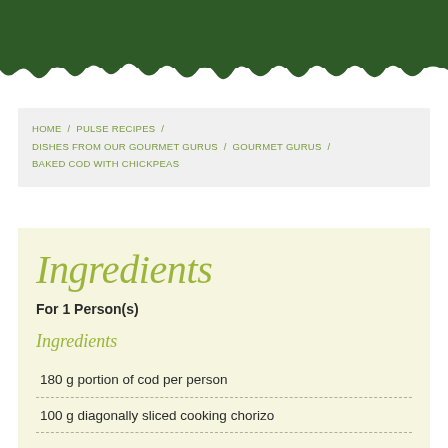HOME / PULSE RECIPES / DISHES FROM OUR GOURMET GURUS / GOURMET GURUS / BAKED COD WITH CHICKPEAS
Ingredients
For 1 Person(s)
Ingredients
180 g portion of cod per person
100 g diagonally sliced cooking chorizo